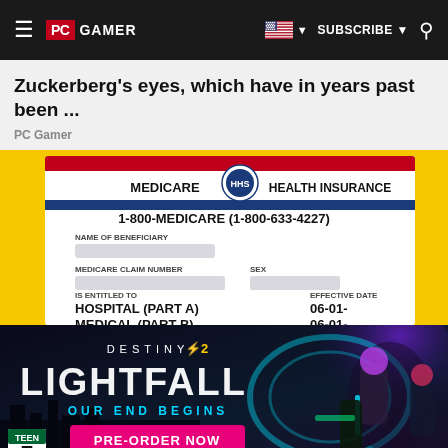PC GAMER | SUBSCRIBE | [search]
Zuckerberg's eyes, which have in years past been ...
PC Gamer
[Figure (photo): Medicare Health Insurance card on yellow background showing: 1-800-MEDICARE (1-800-633-4227), NAME OF BENEFICIARY (blurred), MEDICARE CLAIM NUMBER (blurred), SEX (blurred), IS ENTITLED TO: HOSPITAL (PART A) 06-01-, MEDICAL (PART B) 06-01-]
[Figure (photo): Destiny 2 Lightfall advertisement: 'OUR END BEGINS', 'PRE-ORDER NOW' button, TEEN rating, Bungie logo, dark sci-fi artwork with armored characters]